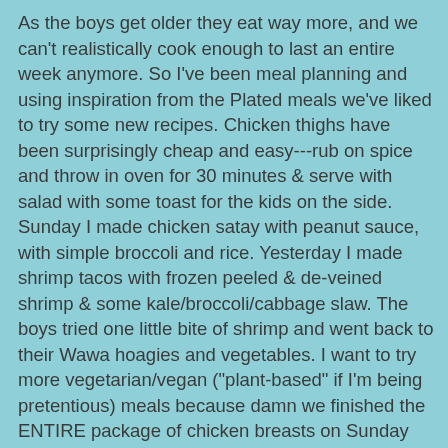As the boys get older they eat way more, and we can't realistically cook enough to last an entire week anymore. So I've been meal planning and using inspiration from the Plated meals we've liked to try some new recipes. Chicken thighs have been surprisingly cheap and easy---rub on spice and throw in oven for 30 minutes & serve with salad with some toast for the kids on the side. Sunday I made chicken satay with peanut sauce, with simple broccoli and rice. Yesterday I made shrimp tacos with frozen peeled & de-veined shrimp & some kale/broccoli/cabbage slaw. The boys tried one little bite of shrimp and went back to their Wawa hoagies and vegetables. I want to try more vegetarian/vegan ("plant-based" if I'm being pretentious) meals because damn we finished the ENTIRE package of chicken breasts on Sunday that cost nearly $10, same with the shrimp.
My beloved GRIT class is cancelled for 2 weeks as our instructor is on vacation and they couldn't find a sub to come in at dark-o-clock and help us try to die, so I'm mixing it up. I've done a few different barre classes---I did one Thursday, Saturday and Sunday and my legs were in PAIN yesterday. I'll do Bodypump tomorrow and Friday, and then back to